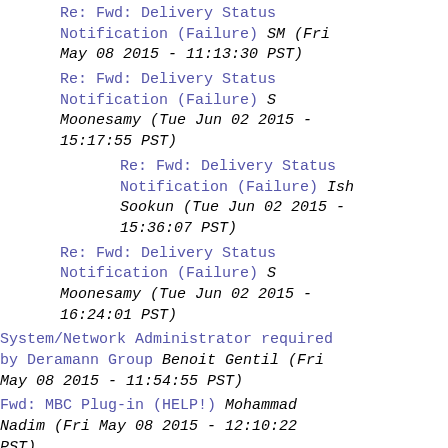Re: Fwd: Delivery Status Notification (Failure) SM (Fri May 08 2015 - 11:13:30 PST)
Re: Fwd: Delivery Status Notification (Failure) S Moonesamy (Tue Jun 02 2015 - 15:17:55 PST)
Re: Fwd: Delivery Status Notification (Failure) Ish Sookun (Tue Jun 02 2015 - 15:36:07 PST)
Re: Fwd: Delivery Status Notification (Failure) S Moonesamy (Tue Jun 02 2015 - 16:24:01 PST)
System/Network Administrator required by Deramann Group Benoit Gentil (Fri May 08 2015 - 11:54:55 PST)
Fwd: MBC Plug-in (HELP!) Mohammad Nadim (Fri May 08 2015 - 12:10:22 PST)